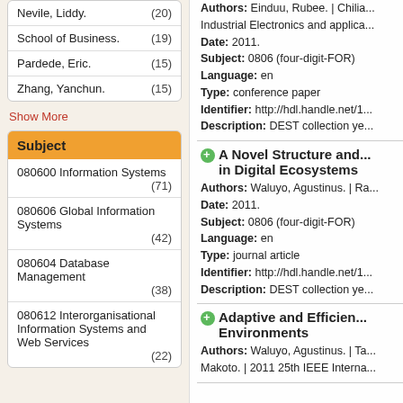Nevile, Liddy. (20)
School of Business. (19)
Pardede, Eric. (15)
Zhang, Yanchun. (15)
Show More
Subject
080600 Information Systems (71)
080606 Global Information Systems (42)
080604 Database Management (38)
080612 Interorganisational Information Systems and Web Services (22)
Authors: Einduu, Rubee. | ... Industrial Electronics and applica... Date: 2011. Subject: 0806 (four-digit-FOR) Language: en Type: conference paper Identifier: http://hdl.handle.net/1... Description: DEST collection ye...
A Novel Structure and... in Digital Ecosystems
Authors: Waluyo, Agustinus. | Ra... Date: 2011. Subject: 0806 (four-digit-FOR) Language: en Type: journal article Identifier: http://hdl.handle.net/1... Description: DEST collection ye...
Adaptive and Efficien... Environments
Authors: Waluyo, Agustinus. | Ta... Makoto. | 2011 25th IEEE Interna...